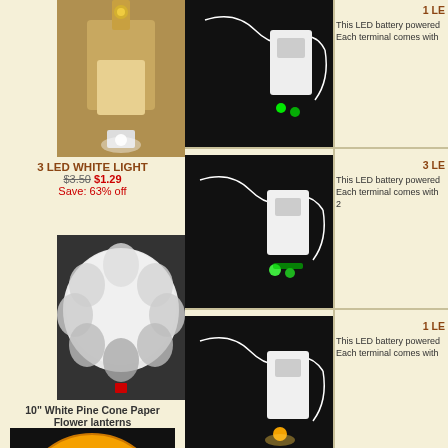[Figure (photo): 3 LED White Light product photo showing LED light with battery pack]
3 LED WHITE LIGHT
$3.50 $1.29
Save: 63% off
[Figure (photo): 10 inch White Pine Cone Paper Flower lantern product photo]
10" White Pine Cone Paper Flower lanterns
$10.99
[Figure (photo): 12 inch Skeleton Paper Lantern product photo]
12" Skeleton Paper Lantern
[Figure (photo): 1 LED battery powered light, green LED, white wire, battery pack]
1 LE
This LED battery powered
Each terminal comes with
[Figure (photo): 3 LED battery powered light, green LED, white wire, battery pack]
3 LE
This LED battery powered
Each terminal comes with 2
[Figure (photo): 1 LED battery powered light, amber/yellow LED, white wire, battery pack]
1 LE
This LED battery powered
Each terminal comes with
[Figure (photo): No picture available placeholder]
3 L
This LED battery powered
Each terminal comes with 2
[Figure (photo): 3 LED battery powered light, warm white/yellow LED, white wire, battery pack]
3 LE
This LED battery powered
Each terminal comes with 2